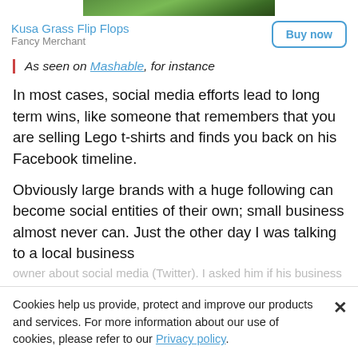[Figure (photo): Partial product image showing grass/nature background for Kusa Grass Flip Flops]
Kusa Grass Flip Flops
Fancy Merchant
[Buy now button]
As seen on Mashable, for instance
In most cases, social media efforts lead to long term wins, like someone that remembers that you are selling Lego t-shirts and finds you back on his Facebook timeline.
Obviously large brands with a huge following can become social entities of their own; small business almost never can. Just the other day I was talking to a local business
Cookies help us provide, protect and improve our products and services. For more information about our use of cookies, please refer to our Privacy policy.